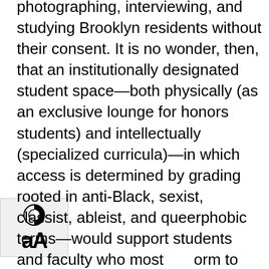photographing, interviewing, and studying Brooklyn residents without their consent. It is no wonder, then, that an institutionally designated student space—both physically (as an exclusive lounge for honors students) and intellectually (specialized curricula)—in which access is determined by grading rooted in anti-Black, sexist, classist, ableist, and queerphobic terms—would support students and faculty who most conform to ideals of exceptionalism, elitism, and individualism.[3]
In contradistinction to the institutional spaces of learning, relaxing, and socializing are spaces on campus, both forged, cared for, and tended to by students, workers, faculty, and various other members of the CUNY community. These spaces are never permanent as the University constantly lays